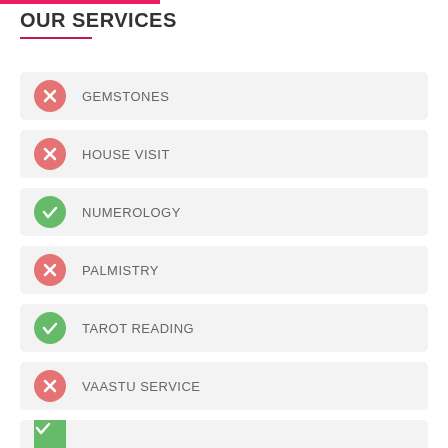OUR SERVICES
GEMSTONES
HOUSE VISIT
NUMEROLOGY
PALMISTRY
TAROT READING
VAASTU SERVICE